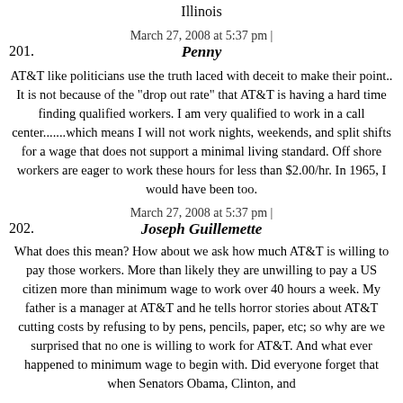Illinois
March 27, 2008 at 5:37 pm |
201. Penny
AT&T like politicians use the truth laced with deceit to make their point.. It is not because of the "drop out rate" that AT&T is having a hard time finding qualified workers. I am very qualified to work in a call center.......which means I will not work nights, weekends, and split shifts for a wage that does not support a minimal living standard. Off shore workers are eager to work these hours for less than $2.00/hr. In 1965, I would have been too.
March 27, 2008 at 5:37 pm |
202. Joseph Guillemette
What does this mean? How about we ask how much AT&T is willing to pay those workers. More than likely they are unwilling to pay a US citizen more than minimum wage to work over 40 hours a week. My father is a manager at AT&T and he tells horror stories about AT&T cutting costs by refusing to by pens, pencils, paper, etc; so why are we surprised that no one is willing to work for AT&T. And what ever happened to minimum wage to begin with. Did everyone forget that when Senators Obama, Clinton, and